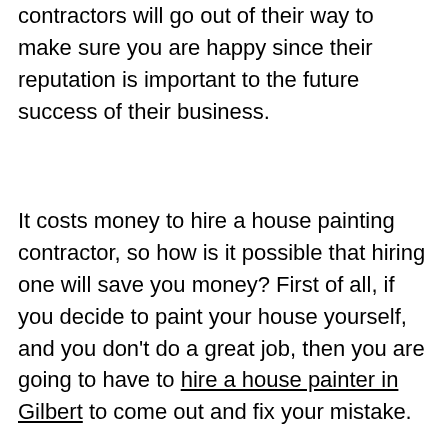contractors will go out of their way to make sure you are happy since their reputation is important to the future success of their business.
It costs money to hire a house painting contractor, so how is it possible that hiring one will save you money? First of all, if you decide to paint your house yourself, and you don't do a great job, then you are going to have to hire a house painter in Gilbert to come out and fix your mistake.
Continue
or
Contact Us
Ameripro of Gilbert